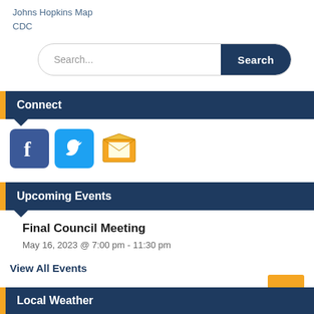Johns Hopkins Map
CDC
[Figure (screenshot): Search bar with text input field and Search button]
Connect
[Figure (other): Social media icons: Facebook, Twitter, and email/notification icon]
Upcoming Events
Final Council Meeting
May 16, 2023 @ 7:00 pm - 11:30 pm
View All Events
Local Weather